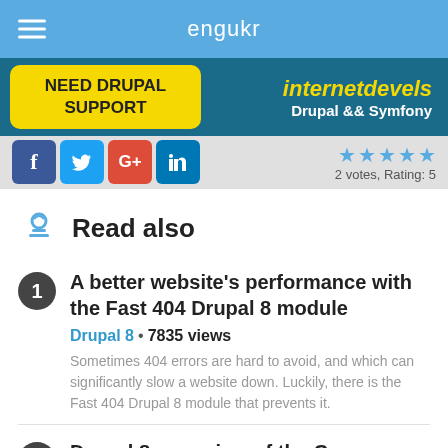eng   ukr
[Figure (screenshot): Advertisement banner for internetdevels Drupal && Symfony with 'NEED DRUPAL SUPPORT' button]
[Figure (infographic): Social media icons (Facebook, Twitter, Google+, LinkedIn) and star rating: 2 votes, Rating: 5]
Read also
A better website’s performance with the Fast 404 Drupal 8 module
Drupal 8 • 7835 views
Sometimes 404 errors are hard to avoid, and which can significantly slow a website down. Luckily, there is the Fast 404 Drupal 8 module that prevents it.
Drupal 8: overview of the Commerce 2.x module for online stores
Drupal 8 • 13722 views
E-commerce in Drupal 8 is a topic of interest for many developers. If you are among them, you’ve come to the